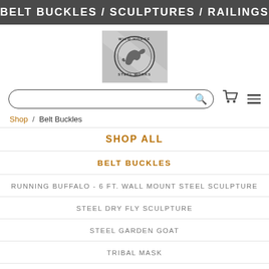BELT BUCKLES / SCULPTURES / RAILINGS
[Figure (logo): Wild Horse Steel Works logo — horse silhouette in a circular badge on grey background]
Search bar with cart and menu icons
Shop / Belt Buckles
SHOP ALL
BELT BUCKLES
RUNNING BUFFALO - 6 FT. WALL MOUNT STEEL SCULPTURE
STEEL DRY FLY SCULPTURE
STEEL GARDEN GOAT
TRIBAL MASK
VINTAGE WRENCH COFFEE TABLE